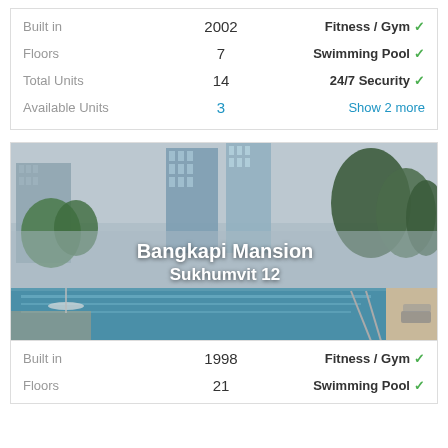| Property Info | Value | Amenities |
| --- | --- | --- |
| Built in | 2002 | Fitness / Gym ✓ |
| Floors | 7 | Swimming Pool ✓ |
| Total Units | 14 | 24/7 Security ✓ |
| Available Units | 3 | Show 2 more |
[Figure (photo): Outdoor swimming pool with city skyline and trees in background — Bangkapi Mansion, Sukhumvit 12]
| Property Info | Value | Amenities |
| --- | --- | --- |
| Built in | 1998 | Fitness / Gym ✓ |
| Floors | 21 | Swimming Pool ✓ |